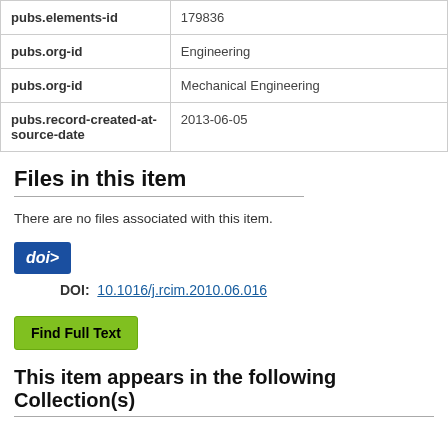| Field | Value |
| --- | --- |
| pubs.elements-id | 179836 |
| pubs.org-id | Engineering |
| pubs.org-id | Mechanical Engineering |
| pubs.record-created-at-source-date | 2013-06-05 |
Files in this item
There are no files associated with this item.
[Figure (logo): DOI logo badge - blue rectangle with 'doi>' text in white]
DOI: 10.1016/j.rcim.2010.06.016
Find Full Text
This item appears in the following Collection(s)